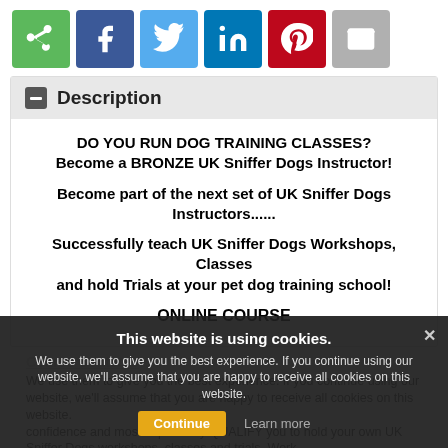[Figure (other): Social share buttons row: green share icon, Facebook, Twitter, LinkedIn, Pinterest, Email]
Description
DO YOU RUN DOG TRAINING CLASSES?
Become a BRONZE UK Sniffer Dogs Instructor!

Become part of the next set of UK Sniffer Dogs Instructors......
Successfully teach UK Sniffer Dogs Workshops, Classes and hold Trials at your pet dog training school!

ONLINE COURSE
Course Contents
We use them to give you the best experience. If you continue using our website, we'll assume that you are happy to receive all cookies on this website.
confidence and most importantly QUALIFY you to hold your own UK Sniffer Dogs workshops, classes and trials. Work
This website is using cookies.
We use them to give you the best experience. If you continue using our website, we'll assume that you are happy to receive all cookies on this website.
Continue  Learn more